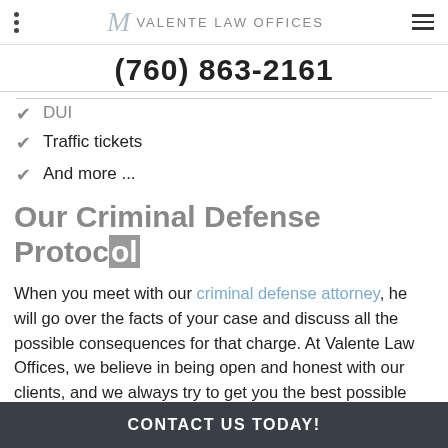M VALENTE LAW OFFICES
(760) 863-2161
DUI
Traffic tickets
And more ...
Our Criminal Defense Protocol
When you meet with our criminal defense attorney, he will go over the facts of your case and discuss all the possible consequences for that charge. At Valente Law Offices, we believe in being open and honest with our clients, and we always try to get you the best possible result.
Our team can do pre-filing interventions, where we gather ir
CONTACT US TODAY!